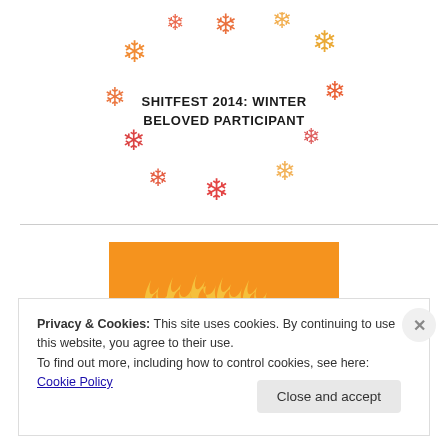[Figure (illustration): Circular arrangement of colorful snowflakes (orange, red, pink, gold tones) surrounding centered bold text reading 'SHITFEST 2014: WINTER BELOVED PARTICIPANT']
[Figure (illustration): Orange rectangular banner with stylized flame/fire illustration in lighter orange/yellow tones at the bottom center]
Privacy & Cookies: This site uses cookies. By continuing to use this website, you agree to their use.
To find out more, including how to control cookies, see here: Cookie Policy
Close and accept